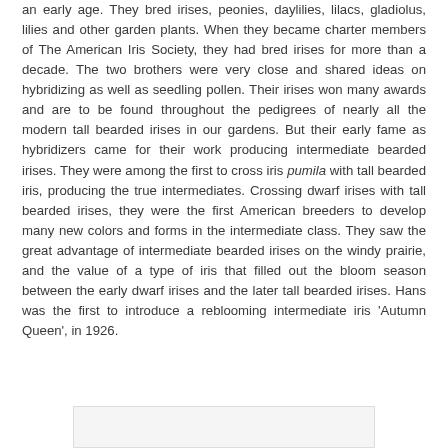an early age. They bred irises, peonies, daylilies, lilacs, gladiolus, lilies and other garden plants. When they became charter members of The American Iris Society, they had bred irises for more than a decade. The two brothers were very close and shared ideas on hybridizing as well as seedling pollen. Their irises won many awards and are to be found throughout the pedigrees of nearly all the modern tall bearded irises in our gardens. But their early fame as hybridizers came for their work producing intermediate bearded irises. They were among the first to cross iris pumila with tall bearded iris, producing the true intermediates. Crossing dwarf irises with tall bearded irises, they were the first American breeders to develop many new colors and forms in the intermediate class. They saw the great advantage of intermediate bearded irises on the windy prairie, and the value of a type of iris that filled out the bloom season between the early dwarf irises and the later tall bearded irises. Hans was the first to introduce a reblooming intermediate iris 'Autumn Queen', in 1926.
[Figure (other): Partial image visible at bottom of page]